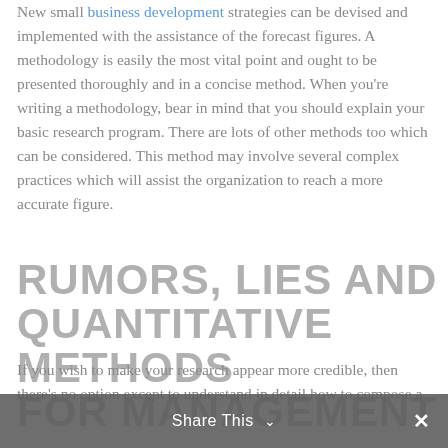New small business development strategies can be devised and implemented with the assistance of the forecast figures. A methodology is easily the most vital point and ought to be presented thoroughly and in a concise method. When you're writing a methodology, bear in mind that you should explain your basic research program. There are lots of other methods too which can be considered. This method may involve several complex practices which will assist the organization to reach a more accurate figure.
RUMORS, LIES AND QUANTITATIVE METHODS FOR MANAGEMENT
If you wish to make your research appear more credible, then there's no option except to understand in detail how to compose a